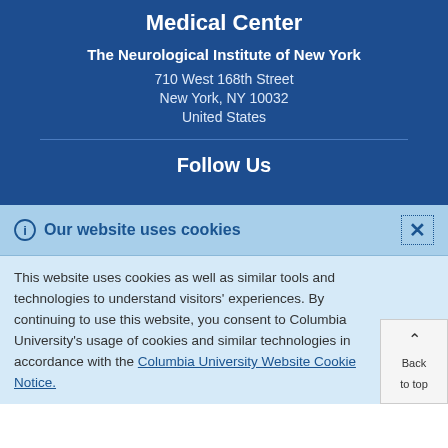Medical Center
The Neurological Institute of New York
710 West 168th Street
New York, NY 10032
United States
Follow Us
Our website uses cookies
This website uses cookies as well as similar tools and technologies to understand visitors' experiences. By continuing to use this website, you consent to Columbia University's usage of cookies and similar technologies in accordance with the Columbia University Website Cookie Notice.